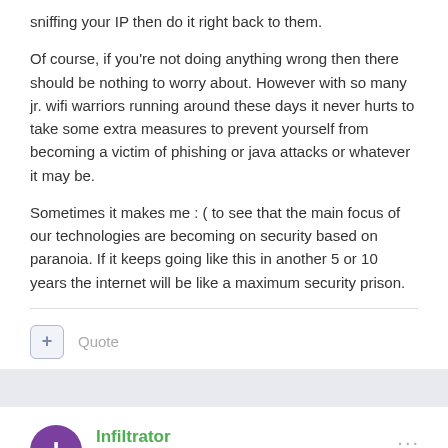sniffing your IP then do it right back to them.
Of course, if you're not doing anything wrong then there should be nothing to worry about. However with so many jr. wifi warriors running around these days it never hurts to take some extra measures to prevent yourself from becoming a victim of phishing or java attacks or whatever it may be.
Sometimes it makes me : ( to see that the main focus of our technologies are becoming on security based on paranoia. If it keeps going like this in another 5 or 10 years the internet will be like a maximum security prison.
Quote
Infiltrator
Posted March 10, 2012
1) Use a live CD as stated above